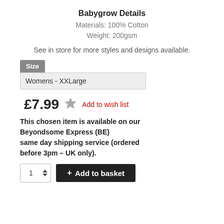Babygrow Details
Materials: 100% Cotton
Weight: 200gsm
See in store for more styles and designs available.
Size
Womens - XXLarge
£7.99  Add to wish list
This chosen item is available on our Beyondsome Express (BE) same day shipping service (ordered before 3pm – UK only).
1  + Add to basket